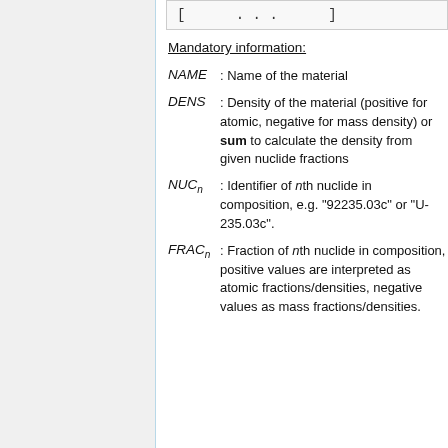[   . . .   ]
Mandatory information:
NAME : Name of the material
DENS : Density of the material (positive for atomic, negative for mass density) or sum to calculate the density from given nuclide fractions
NUCn : Identifier of nth nuclide in composition, e.g. "92235.03c" or "U-235.03c".
FRACn : Fraction of nth nuclide in composition, positive values are interpreted as atomic fractions/densities, negative values as mass fractions/densities.